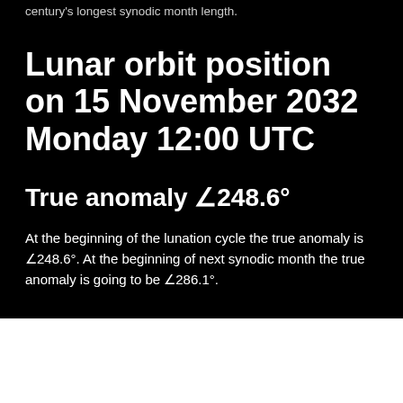century's longest synodic month length.
Lunar orbit position on 15 November 2032 Monday 12:00 UTC
True anomaly ∠248.6°
At the beginning of the lunation cycle the true anomaly is ∠248.6°. At the beginning of next synodic month the true anomaly is going to be ∠286.1°.